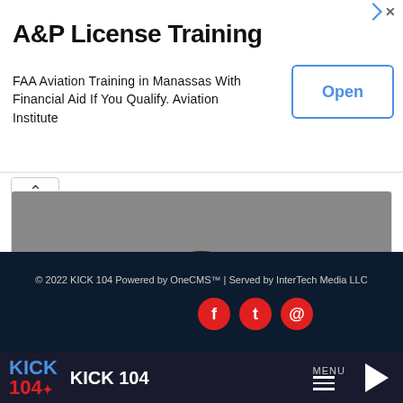[Figure (screenshot): Advertisement banner for A&P License Training. Shows title 'A&P License Training', body text 'FAA Aviation Training in Manassas With Financial Aid If You Qualify. Aviation Institute', and an 'Open' button on the right.]
[Figure (photo): Photo of a young woman with curly hair holding a skateboard horizontally in front of her, smiling. Below the photo is an ad attribution bar showing 'Ad healthcare.gov' and a 'More' button with dropdown arrow.]
© 2022 KICK 104 Powered by OneCMS™ | Served by InterTech Media LLC
[Figure (logo): KICK 104 radio station bottom navigation bar with logo, station name 'KICK 104', MENU hamburger icon, and play button.]